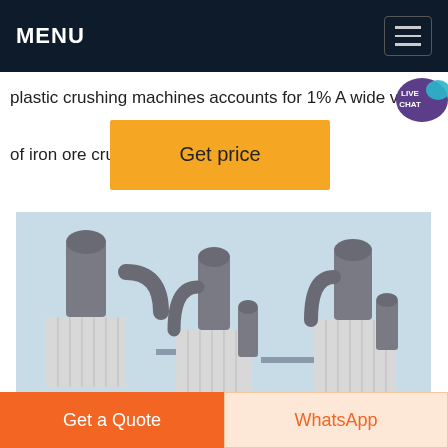MENU
plastic crushing machines accounts for 1% A wide va
of iron ore crush
[Figure (screenshot): Yellow 'Get price' button overlay on text]
[Figure (photo): Industrial dust collector / crusher machines with gray cylindrical towers and white filter units against a blue sky]
Get a Quote
WhatsApp